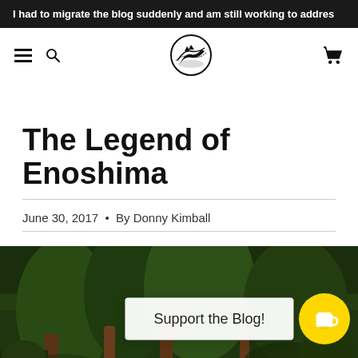I had to migrate the blog suddenly and am still working to addres
[Figure (logo): Navigation bar with hamburger menu, search icon, circular mountain/landscape logo, and shopping cart icon]
The Legend of Enoshima
June 30, 2017  •  By Donny Kimball
[Figure (photo): Outdoor photo showing trees, wooden fence, and lush green foliage with a 'Support the Blog!' overlay box and a yellow coffee cup button]
Support the Blog!